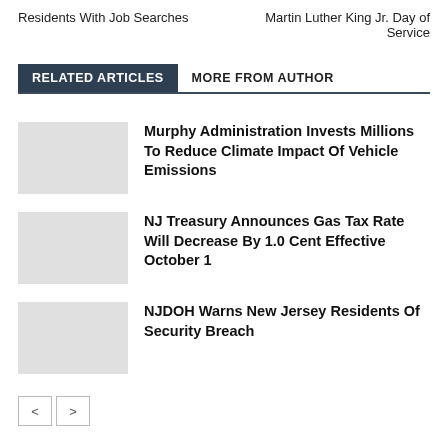Residents With Job Searches
Martin Luther King Jr. Day of Service
RELATED ARTICLES
MORE FROM AUTHOR
Murphy Administration Invests Millions To Reduce Climate Impact Of Vehicle Emissions
NJ Treasury Announces Gas Tax Rate Will Decrease By 1.0 Cent Effective October 1
NJDOH Warns New Jersey Residents Of Security Breach